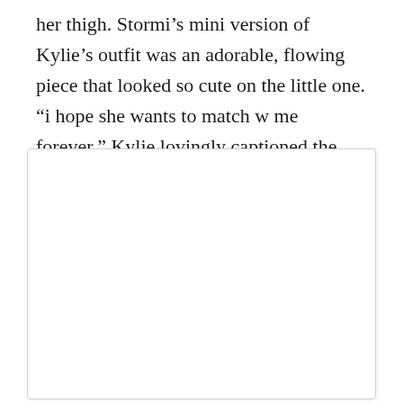her thigh. Stormi's mini version of Kylie's outfit was an adorable, flowing piece that looked so cute on the little one. “i hope she wants to match w me forever,” Kylie lovingly captioned the pic.
[Figure (photo): A large white rectangular image placeholder with a light grey border and subtle drop shadow, occupying the lower portion of the page.]